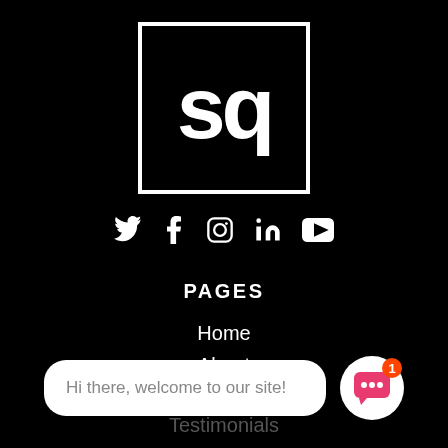[Figure (logo): Black square with white border containing white bold lowercase letters 'sq']
[Figure (infographic): Row of 5 social media icons: Twitter (bird), Facebook (f), Instagram (camera), LinkedIn (in), YouTube (play button triangle)]
PAGES
Home
About
How We Work
Testimonials
Blog
Hi there, welcome to our site!